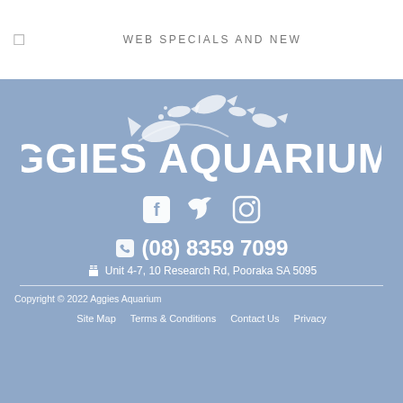WEB SPECIALS AND NEW
[Figure (logo): Aggies Aquariums logo with fish silhouettes above text, white on blue-grey background]
[Figure (infographic): Social media icons: Facebook, Twitter, Instagram in white]
(08) 8359 7099
Unit 4-7, 10 Research Rd, Pooraka SA 5095
Copyright © 2022 Aggies Aquarium
Site Map
Terms & Conditions
Contact Us
Privacy